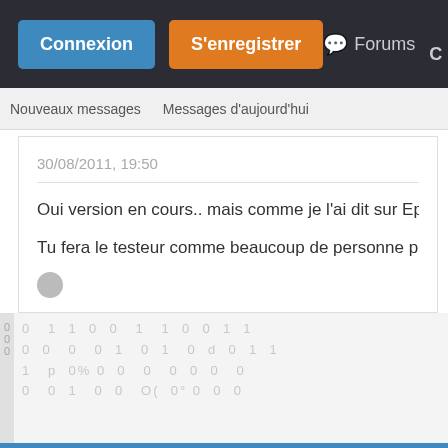Connexion | S'enregistrer | Forums | C
Nouveaux messages   Messages d'aujourd'hui
30/08/2011, 19:50
Oui version en cours.. mais comme je l'ai dit sur Epiknet lors d'un...
Tu fera le testeur comme beaucoup de personne pour voir si ce...
[Figure (screenshot): Binary/digital background with 0s and 1s pattern on grey background]
Sujets appar